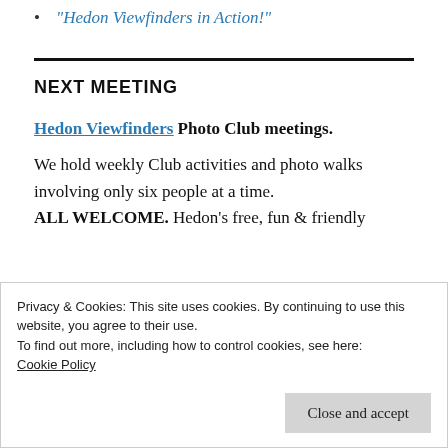“Hedon Viewfinders in Action!”
NEXT MEETING
Hedon Viewfinders Photo Club meetings.
We hold weekly Club activities and photo walks involving only six people at a time. ALL WELCOME. Hedon’s free, fun & friendly
Privacy & Cookies: This site uses cookies. By continuing to use this website, you agree to their use.
To find out more, including how to control cookies, see here: Cookie Policy